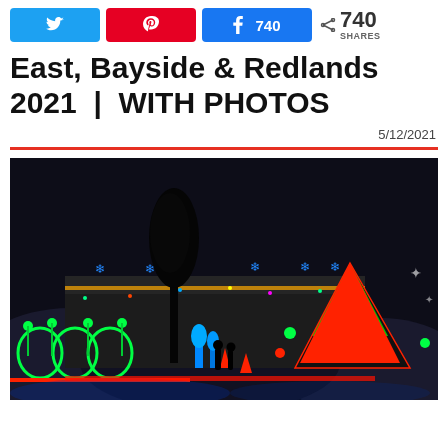[Figure (infographic): Social sharing buttons: Twitter (bird icon), Pinterest (P icon), Facebook with 740 count, and share icon with 740 SHARES]
East, Bayside & Redlands 2021 | WITH PHOTOS
5/12/2021
[Figure (photo): Night-time photo of a house decorated with colourful Christmas lights including green arches, blue snowflakes, a large diagonal striped Christmas tree in red and green on the right, and various LED decorations. A tree silhouette is visible in the foreground and two people are standing near the house.]